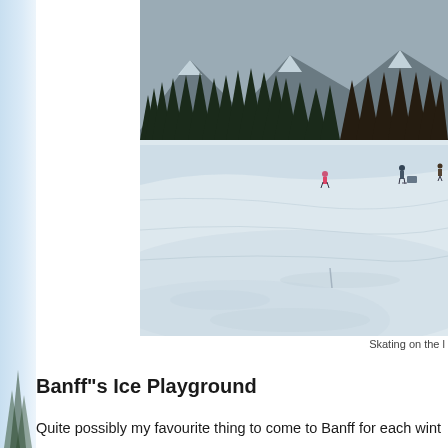[Figure (photo): A snowy frozen lake or skating surface with people visible in the distance, surrounded by tall evergreen trees and snow-capped mountains in the background. The foreground shows textured ice and snow.]
Skating on the l
Banff"s Ice Playground
Quite possibly my favourite thing to come to Banff for each wint